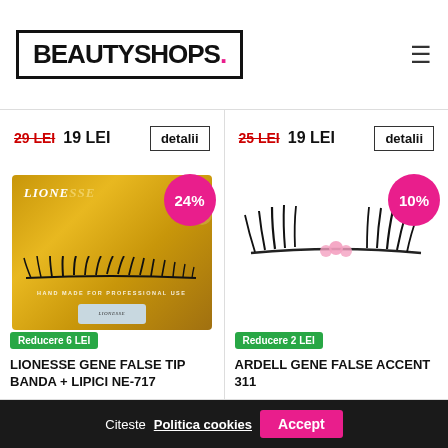[Figure (logo): BeautyShops logo in black border box with pink dot]
29 LEI  19 LEI  detalii  |  25 LEI  19 LEI  detalii
[Figure (photo): Lionesse false lash band + glue NE-717 in golden box with 24% discount badge]
[Figure (photo): Ardell false lashes Accent 311 with pink pearls and 10% discount badge]
Reducere 6 LEI
Reducere 2 LEI
LIONESSE GENE FALSE TIP BANDA + LIPICI NE-717
ARDELL GENE FALSE ACCENT 311
Citeste Politica cookies  Accept